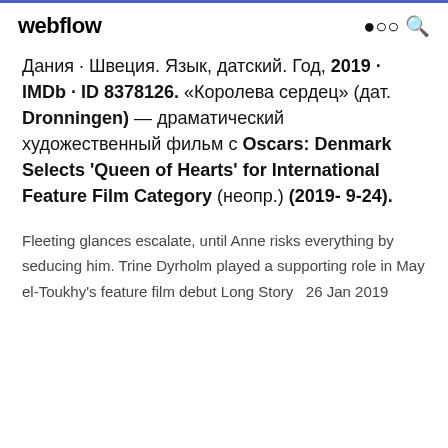webflow
Дания · Швеция. Язык, датский. Год, 2019 · IMDb · ID 8378126. «Королева сердец» (дат. Dronningen) — драматический художественный фильм с Oscars: Denmark Selects 'Queen of Hearts' for International Feature Film Category (неопр.) (2019- 9-24).
Fleeting glances escalate, until Anne risks everything by seducing him. Trine Dyrholm played a supporting role in May el-Toukhy's feature film debut Long Story  26 Jan 2019